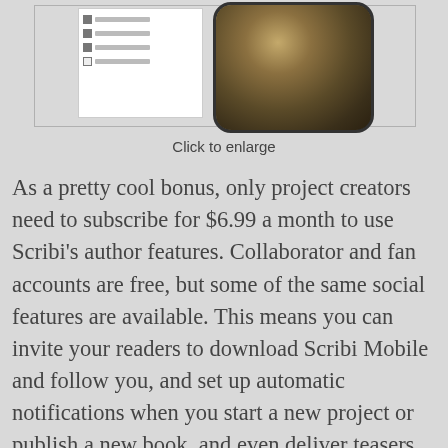[Figure (screenshot): Two screenshots side by side: a table/list panel on the left with checkboxes and rows, and a mobile phone frame on the right showing a dark textured nature image (appears to be fur or rock texture).]
Click to enlarge
As a pretty cool bonus, only project creators need to subscribe for $6.99 a month to use Scribi’s author features. Collaborator and fan accounts are free, but some of the same social features are available. This means you can invite your readers to download Scribi Mobile and follow you, and set up automatic notifications when you start a new project or publish a new book, and even deliver teasers and excerpts right to their devices. Give Scribi your store links, and it can even put the link